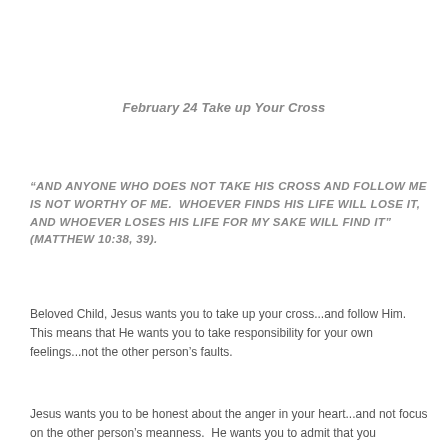February 24  Take up Your Cross
“AND ANYONE WHO DOES NOT TAKE HIS CROSS AND FOLLOW ME IS NOT WORTHY OF ME.  WHOEVER FINDS HIS LIFE WILL LOSE IT, AND WHOEVER LOSES HIS LIFE FOR MY SAKE WILL FIND IT” (Matthew 10:38, 39).
Beloved Child, Jesus wants you to take up your cross...and follow Him.  This means that He wants you to take responsibility for your own feelings...not the other person’s faults.
Jesus wants you to be honest about the anger in your heart...and not focus on the other person’s meanness.  He wants you to admit that you